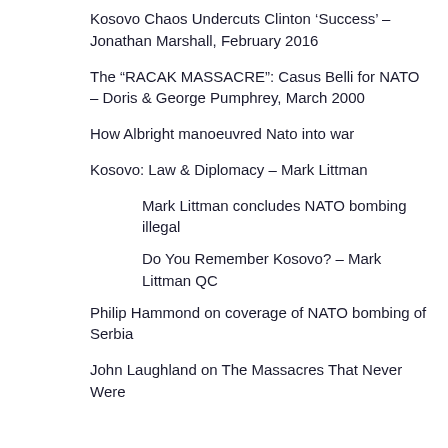Kosovo Chaos Undercuts Clinton ‘Success’ – Jonathan Marshall, February 2016
The “RACAK MASSACRE”: Casus Belli for NATO – Doris & George Pumphrey, March 2000
How Albright manoeuvred Nato into war
Kosovo: Law & Diplomacy – Mark Littman
Mark Littman concludes NATO bombing illegal
Do You Remember Kosovo? – Mark Littman QC
Philip Hammond on coverage of NATO bombing of Serbia
John Laughland on The Massacres That Never Were